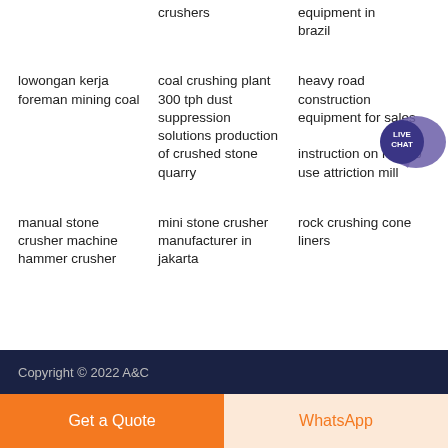crushers
equipment in brazil
lowongan kerja foreman mining coal
coal crushing plant 300 tph dust suppression solutions production of crushed stone quarry
heavy road construction equipment for sales
instruction on how to use attriction mill
manual stone crusher machine hammer crusher
mini stone crusher manufacturer in jakarta
rock crushing cone liners
Copyright © 2022 A&C